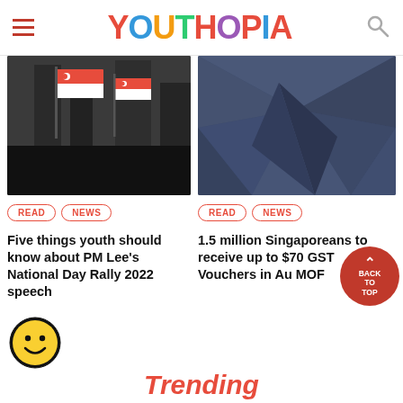YOUTHOPIA
[Figure (photo): Singapore flags waving on city street with buildings in background]
[Figure (photo): Abstract dark blue geometric polygonal background]
READ  NEWS
READ  NEWS
Five things youth should know about PM Lee's National Day Rally 2022 speech
1.5 million Singaporeans to receive up to $70 GST Vouchers in Au MOF
Trending